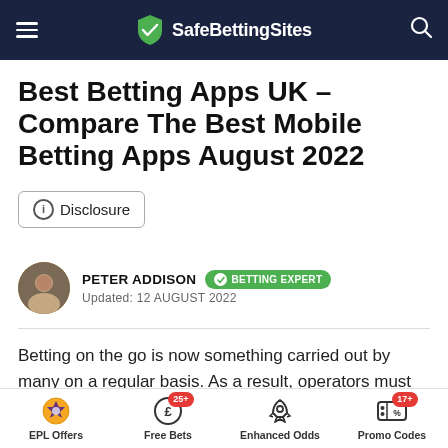SafeBettingSites
Best Betting Apps UK – Compare The Best Mobile Betting Apps August 2022
Disclosure
PETER ADDISON  BETTING EXPERT
Updated: 12 AUGUST 2022
Betting on the go is now something carried out by many on a regular basis. As a result, operators must ensure that they make doing so convenient and efficient. The best betting apps UK offer a host of features, making backing your favourite sports teams, players and competitors a
EPL Offers   Free Bets 25+   Enhanced Odds   Promo Codes 17+